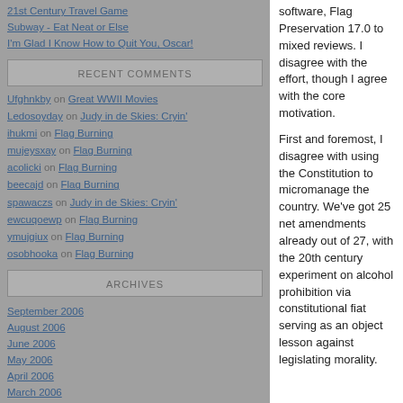21st Century Travel Game
Subway - Eat Neat or Else
I'm Glad I Know How to Quit You, Oscar!
RECENT COMMENTS
Ufghnkby on Great WWII Movies
Ledosoyday on Judy in de Skies: Cryin'
ihukmi on Flag Burning
mujeysxay on Flag Burning
acolicki on Flag Burning
beecajd on Flag Burning
spawaczs on Judy in de Skies: Cryin'
ewcuqoewp on Flag Burning
ymujgiux on Flag Burning
osobhooka on Flag Burning
ARCHIVES
September 2006
August 2006
June 2006
May 2006
April 2006
March 2006
software, Flag Preservation 17.0 to mixed reviews. I disagree with the effort, though I agree with the core motivation.
First and foremost, I disagree with using the Constitution to micromanage the country. We've got 25 net amendments already out of 27, with the 20th century experiment on alcohol prohibition via constitutional fiat serving as an object lesson against legislating morality.